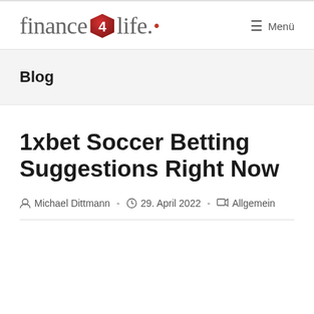finance4life. — Menü
Blog
1xbet Soccer Betting Suggestions Right Now
Michael Dittmann · 29. April 2022 · Allgemein